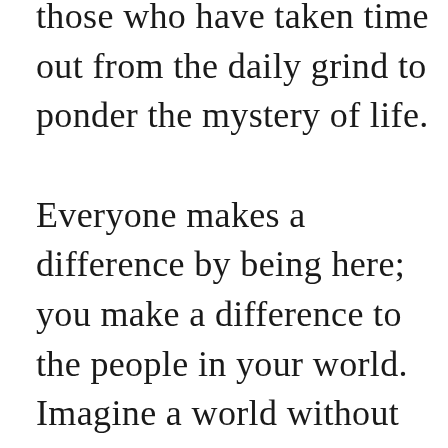those who have taken time out from the daily grind to ponder the mystery of life.

Everyone makes a difference by being here; you make a difference to the people in your world.  Imagine a world without you, it may not come to a halt or give rise to a mass of outpouring of grief